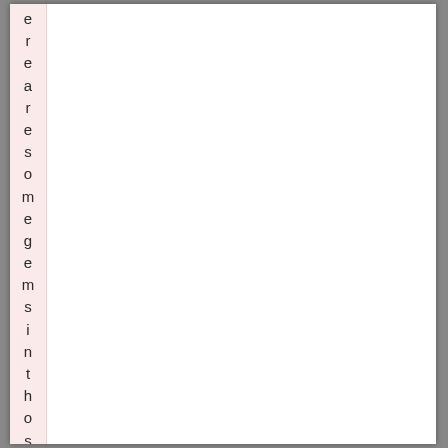e r e a r e s o m e g e m s i n t h o s e s m a l